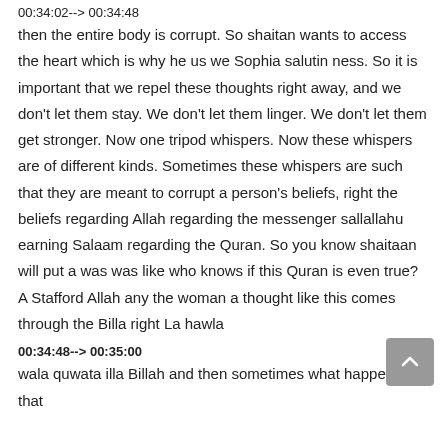00:34:02--> 00:34:48
then the entire body is corrupt. So shaitan wants to access the heart which is why he us we Sophia salutin ness. So it is important that we repel these thoughts right away, and we don't let them stay. We don't let them linger. We don't let them get stronger. Now one tripod whispers. Now these whispers are of different kinds. Sometimes these whispers are such that they are meant to corrupt a person's beliefs, right the beliefs regarding Allah regarding the messenger sallallahu earning Salaam regarding the Quran. So you know shaitaan will put a was was like who knows if this Quran is even true? A Stafford Allah any the woman a thought like this comes through the Billa right La hawla
00:34:48--> 00:35:00
wala quwata illa Billah and then sometimes what happens is that